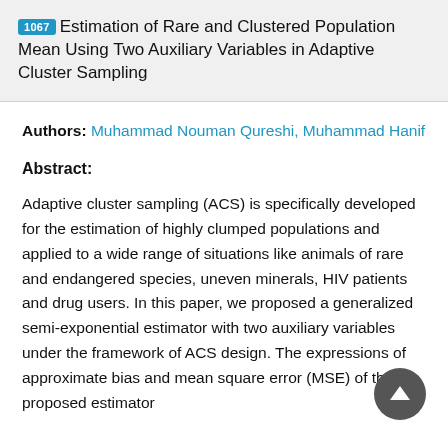1067 Estimation of Rare and Clustered Population Mean Using Two Auxiliary Variables in Adaptive Cluster Sampling
Authors: Muhammad Nouman Qureshi, Muhammad Hanif
Abstract:
Adaptive cluster sampling (ACS) is specifically developed for the estimation of highly clumped populations and applied to a wide range of situations like animals of rare and endangered species, uneven minerals, HIV patients and drug users. In this paper, we proposed a generalized semi-exponential estimator with two auxiliary variables under the framework of ACS design. The expressions of approximate bias and mean square error (MSE) of the proposed estimator